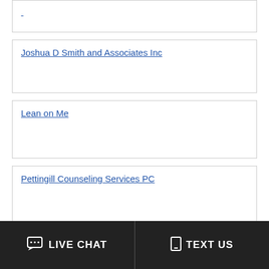(partial card - previous entry, link cut off)
Joshua D Smith and Associates Inc
Lean on Me
Pettingill Counseling Services PC
Renaissance Ranch
LIVE CHAT   TEXT US